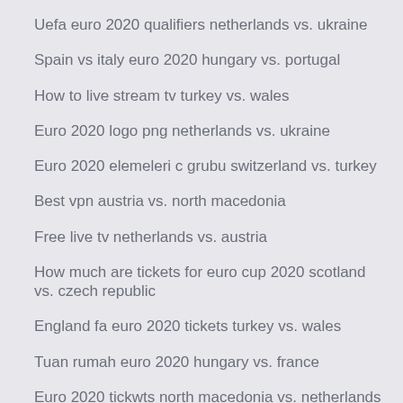Uefa euro 2020 qualifiers netherlands vs. ukraine
Spain vs italy euro 2020 hungary vs. portugal
How to live stream tv turkey vs. wales
Euro 2020 logo png netherlands vs. ukraine
Euro 2020 elemeleri c grubu switzerland vs. turkey
Best vpn austria vs. north macedonia
Free live tv netherlands vs. austria
How much are tickets for euro cup 2020 scotland vs. czech republic
England fa euro 2020 tickets turkey vs. wales
Tuan rumah euro 2020 hungary vs. france
Euro 2020 tickwts north macedonia vs. netherlands